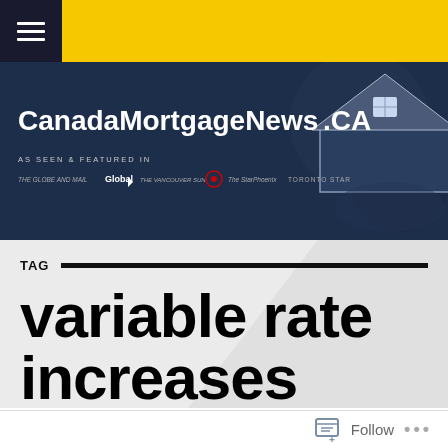[Figure (screenshot): CanadaMortgageNews.ca website header with hamburger menu, yellow top bar, dark blue banner with house icon and media logos]
TAG
variable rate increases
Follow